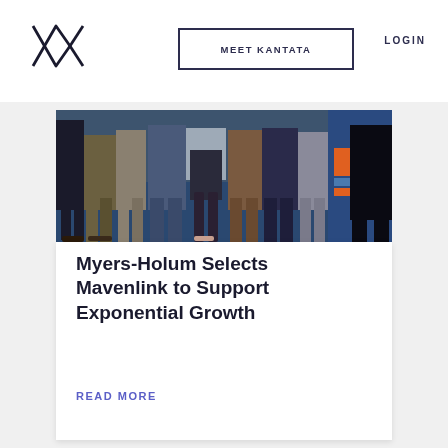[Figure (logo): Kantata geometric diamond/X logo in dark ink]
MEET KANTATA   LOGIN
[Figure (photo): Group of people standing side by side, cropped at waist level showing legs and lower bodies on a blue carpet, with an orange and blue banner visible on the right side.]
Myers-Holum Selects Mavenlink to Support Exponential Growth
READ MORE